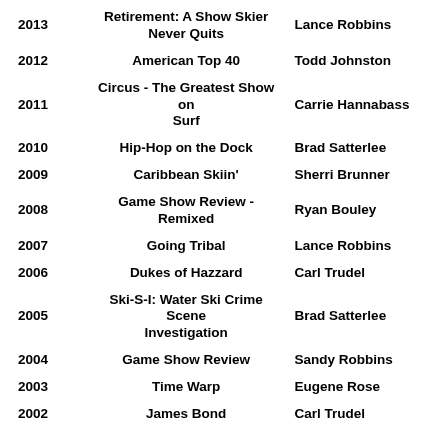| Year | Show | Director/Choreographer |
| --- | --- | --- |
| 2013 | Retirement: A Show Skier Never Quits | Lance Robbins |
| 2012 | American Top 40 | Todd Johnston |
| 2011 | Circus - The Greatest Show on Surf | Carrie Hannabass |
| 2010 | Hip-Hop on the Dock | Brad Satterlee |
| 2009 | Caribbean Skiin' | Sherri Brunner |
| 2008 | Game Show Review - Remixed | Ryan Bouley |
| 2007 | Going Tribal | Lance Robbins |
| 2006 | Dukes of Hazzard | Carl Trudel |
| 2005 | Ski-S-I: Water Ski Crime Scene Investigation | Brad Satterlee |
| 2004 | Game Show Review | Sandy Robbins |
| 2003 | Time Warp | Eugene Rose |
| 2002 | James Bond | Carl Trudel |